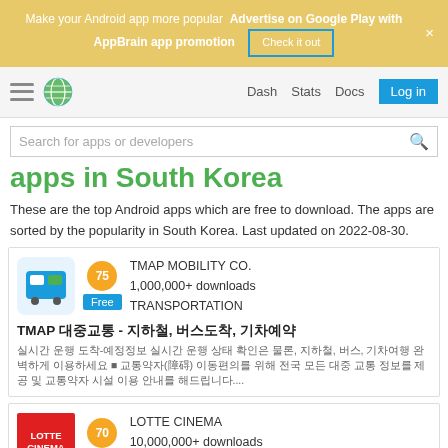Make your Android app more popular  Advertise on Google Play with AppBrain app promotion  Check it out  ×
Dash  Stats  Docs  Log in
Search for apps or developers
apps in South Korea
These are the top Android apps which are free to download. The apps are sorted by the popularity in South Korea. Last updated on 2022-08-30.
TMAP MOBILITY CO. | 1,000,000+ downloads | TRANSPORTATION | Score: 75 | Free | TMAP 대중교통 - 지하철, 버스도착, 기차예약 | App description in Korean
LOTTE CINEMA | 10,000,000+ downloads | ENTERTAINMENT | Score: 70 | Free | 롯데시네마